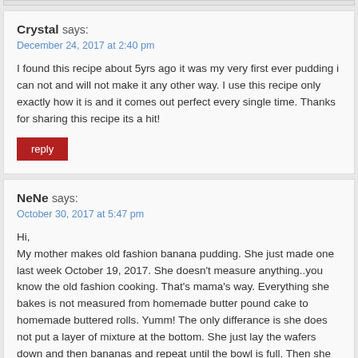Crystal says:
December 24, 2017 at 2:40 pm
I found this recipe about 5yrs ago it was my very first ever pudding i can not and will not make it any other way. I use this recipe only exactly how it is and it comes out perfect every single time. Thanks for sharing this recipe its a hit!
reply
NeNe says:
October 30, 2017 at 5:47 pm
Hi,
My mother makes old fashion banana pudding. She just made one last week October 19, 2017. She doesn't measure anything..you know the old fashion cooking. That's mama's way. Everything she bakes is not measured from homemade butter pound cake to homemade buttered rolls. Yumm! The only differance is she does not put a layer of mixture at the bottom. She just lay the wafers down and then bananas and repeat until the bowl is full. Then she make the mixture and topping. It's the BEST pudding to me in the